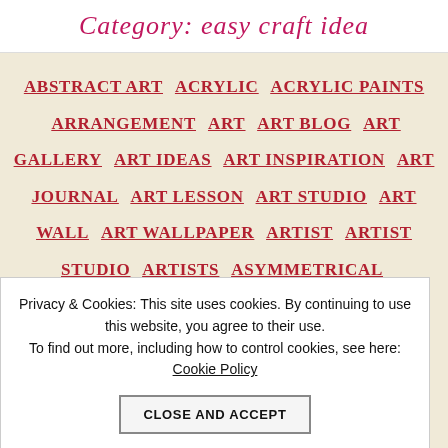Category: easy craft idea
ABSTRACT ART  ACRYLIC  ACRYLIC PAINTS  ARRANGEMENT  ART  ART BLOG  ART GALLERY  ART IDEAS  ART INSPIRATION  ART JOURNAL  ART LESSON  ART STUDIO  ART WALL  ART WALLPAPER  ARTIST  ARTIST STUDIO  ARTISTS  ASYMMETRICAL  COLLABORATION  COLLAGE  COLOR  COLORBLOCK  COLORFUL  COLORS  CRAFT  CREATIVE  CREATIVE INSPIRATION
Privacy & Cookies: This site uses cookies. By continuing to use this website, you agree to their use.
To find out more, including how to control cookies, see here: Cookie Policy
CLOSE AND ACCEPT